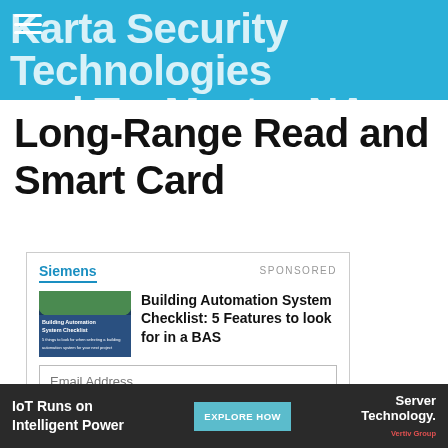Karta Security Technologies and TagMaster NA Combine Long-Range Read and Smart Card
Long-Range Read and Smart Card
[Figure (infographic): Sponsored ad card from Siemens for Building Automation System Checklist: 5 Features to look for in a BAS, with email address and name form fields and a Read Now button]
This sponsor can send me information related to the content above via email.
[Figure (infographic): Bottom advertisement banner: IoT Runs on Intelligent Power, Explore How button, Server Technology logo]